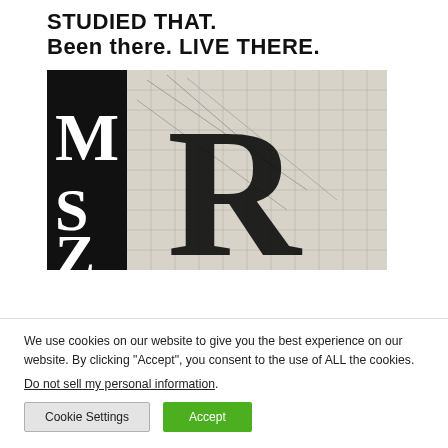STUDIED THAT. Been there. LIVE THERE.
[Figure (photo): Close-up photograph showing large serif letters M, S, Z on a black background on the left, and a large letter R drawn over a grid on a light background on the right, appearing to be from a typography or type design book.]
We use cookies on our website to give you the best experience on our website. By clicking “Accept”, you consent to the use of ALL the cookies.
Do not sell my personal information.